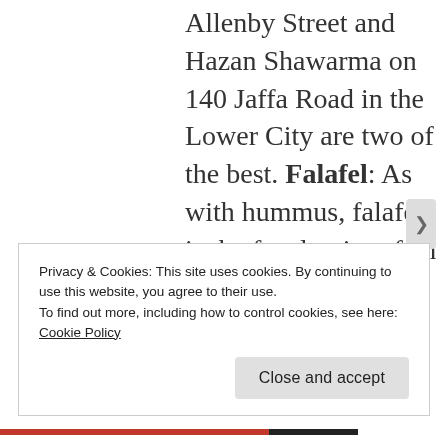Allenby Street and Hazan Shawarma on 140 Jaffa Road in the Lower City are two of the best. Falafel: As with hummus, falafel is the focal point of an ongoing debate over where it actually
Privacy & Cookies: This site uses cookies. By continuing to use this website, you agree to their use.
To find out more, including how to control cookies, see here: Cookie Policy
Close and accept